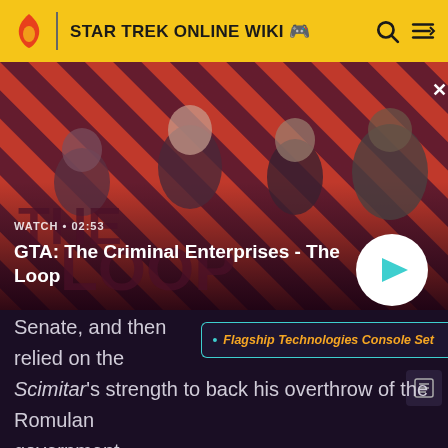STAR TREK ONLINE WIKI
[Figure (screenshot): GTA: The Criminal Enterprises - The Loop video thumbnail with characters on striped red/dark background, watch time 02:53, play button]
• Flagship Technologies Console Set
Senate, and then relied on the Scimitar's strength to back his overthrow of the Romulan government.